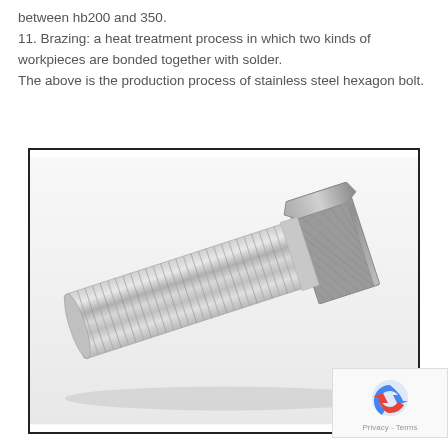between hb200 and 350.
11. Brazing: a heat treatment process in which two kinds of workpieces are bonded together with solder.
The above is the production process of stainless steel hexagon bolt.
[Figure (photo): A stainless steel hexagon bolt photographed at an angle showing the threaded shaft and hexagonal head.]